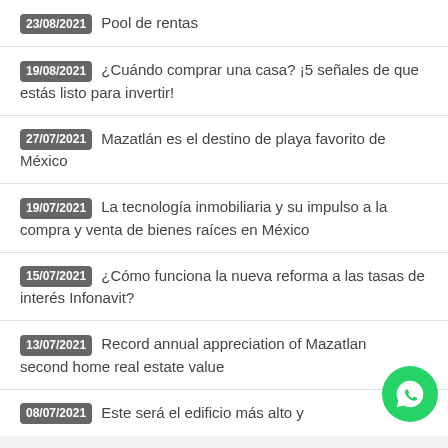23/08/2021 Pool de rentas
19/08/2021 ¿Cuándo comprar una casa? ¡5 señales de que estás listo para invertir!
27/07/2021 Mazatlán es el destino de playa favorito de México
19/07/2021 La tecnología inmobiliaria y su impulso a la compra y venta de bienes raíces en México
15/07/2021 ¿Cómo funciona la nueva reforma a las tasas de interés Infonavit?
13/07/2021 Record annual appreciation of Mazatlan second home real estate value
08/07/2021 Este será el edificio más alto y